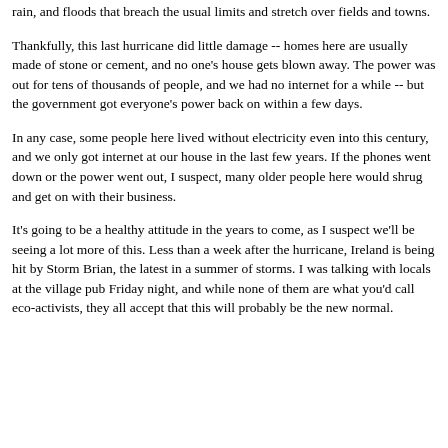rain, and floods that breach the usual limits and stretch over fields and towns.
Thankfully, this last hurricane did little damage -- homes here are usually made of stone or cement, and no one's house gets blown away. The power was out for tens of thousands of people, and we had no internet for a while -- but the government got everyone's power back on within a few days.
In any case, some people here lived without electricity even into this century, and we only got internet at our house in the last few years. If the phones went down or the power went out, I suspect, many older people here would shrug and get on with their business.
It's going to be a healthy attitude in the years to come, as I suspect we'll be seeing a lot more of this. Less than a week after the hurricane, Ireland is being hit by Storm Brian, the latest in a summer of storms. I was talking with locals at the village pub Friday night, and while none of them are what you'd call eco-activists, they all accept that this will probably be the new normal.